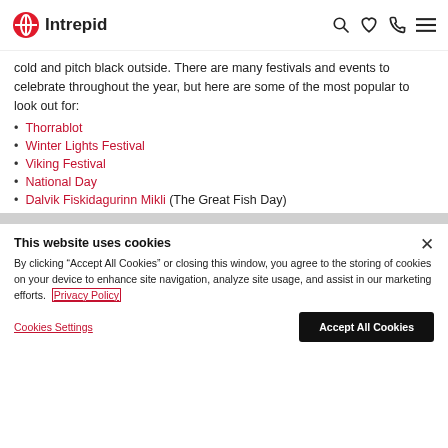Intrepid
cold and pitch black outside. There are many festivals and events to celebrate throughout the year, but here are some of the most popular to look out for:
Thorrablot
Winter Lights Festival
Viking Festival
National Day
Dalvik Fiskidagurinn Mikli (The Great Fish Day)
This website uses cookies
By clicking “Accept All Cookies” or closing this window, you agree to the storing of cookies on your device to enhance site navigation, analyze site usage, and assist in our marketing efforts. Privacy Policy